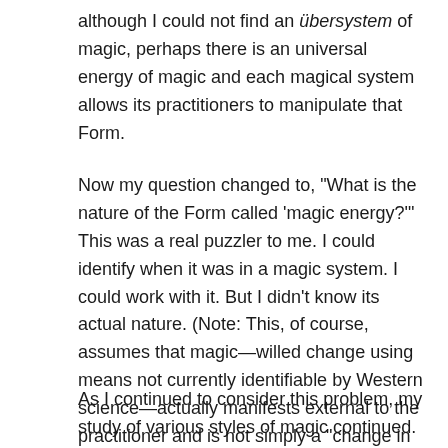although I could not find an übersystem of magic, perhaps there is an universal energy of magic and each magical system allows its practitioners to manipulate that Form.
Now my question changed to, "What is the nature of the Form called 'magic energy?'" This was a real puzzler to me. I could identify when it was in a magic system. I could work with it. But I didn't know its actual nature. (Note: This, of course, assumes that magic—willed change using means not currently identifiable by Western science—actually manifests external to the practitioner and is not simply a "change in consciousness" as some people theorize.)
As I continued to consider this problem, my study of various styles of magic continued. Although I am involved with several groups, most of my study and